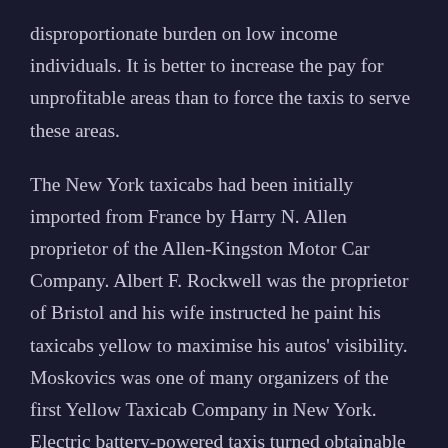disproportionate burden on low income individuals. It is better to increase the pay for unprofitable areas than to force the taxis to serve these areas.
The New York taxicabs had been initially imported from France by Harry N. Allen proprietor of the Allen-Kingston Motor Car Company. Albert F. Rockwell was the proprietor of Bristol and his wife instructed he paint his taxicabs yellow to maximise his autos' visibility. Moskovics was one of many organizers of the first Yellow Taxicab Company in New York. Electric battery-powered taxis turned obtainable on the end of the 19th century. In London, Walter Bersey designed a fleet of such cabs and introduced them to the streets of London on 19 August 1897. They were quickly nicknamed